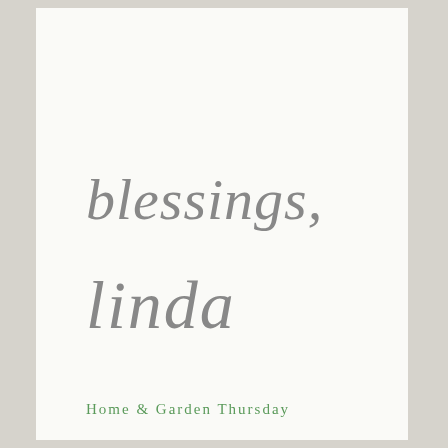blessings,
linda
Home & Garden Thursday